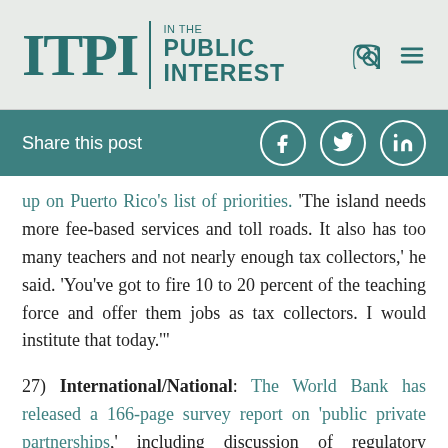ITPI | IN THE PUBLIC INTEREST
Share this post
up on Puerto Rico's list of priorities. 'The island needs more fee-based services and toll roads. It also has too many teachers and not nearly enough tax collectors,' he said. 'You've got to fire 10 to 20 percent of the teaching force and offer them jobs as tax collectors. I would institute that today.'"
27) International/National: The World Bank has released a 166-page survey report on 'public private partnerships,' including discussion of regulatory frameworks